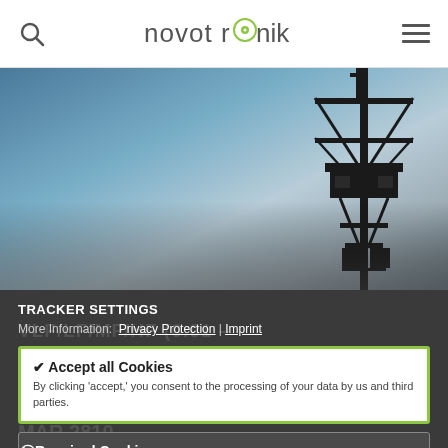[Figure (logo): Novotronik logo with stylized 'o' containing a circle with dot]
[Figure (photo): Hero image with blue sky gradient and silhouette of a telecommunications tower on the right side]
TRACKER SETTINGS
More Information: Privacy Protection | Imprint
✔ Accept all Cookies
By clicking 'accept,' you consent to the processing of your data by us and third parties.
⊘ Required Cookies
Required cookies are required to enable the use of our website; because they are required, the "Required Cookies" button does not allow selection and deactivation.